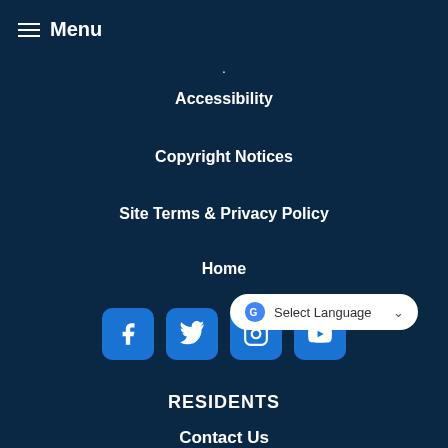Menu
.
Accessibility
Copyright Notices
Site Terms & Privacy Policy
Home
[Figure (infographic): Social media icon buttons: Facebook, Twitter, Instagram, YouTube]
Select Language
RESIDENTS
Contact Us